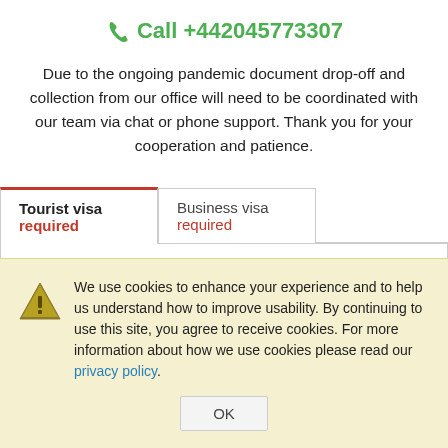Call +442045773307
Due to the ongoing pandemic document drop-off and collection from our office will need to be coordinated with our team via chat or phone support. Thank you for your cooperation and patience.
Tourist visa required | Business visa required
We use cookies to enhance your experience and to help us understand how to improve usability. By continuing to use this site, you agree to receive cookies. For more information about how we use cookies please read our privacy policy.